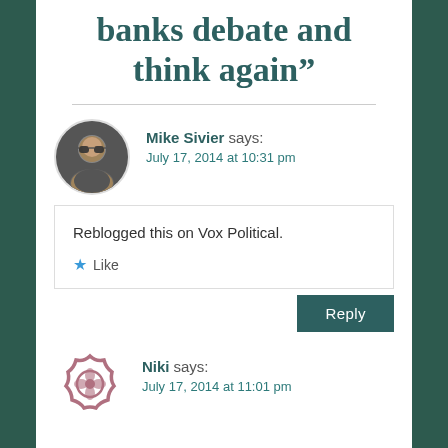banks debate and think again”
Mike Sivier says:
July 17, 2014 at 10:31 pm
Reblogged this on Vox Political.
★ Like
Reply
Niki says:
July 17, 2014 at 11:01 pm